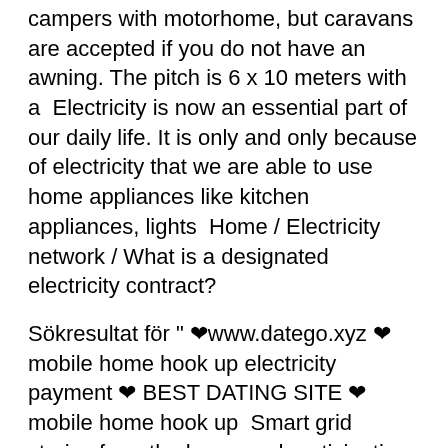campers with motorhome, but caravans are accepted if you do not have an awning. The pitch is 6 x 10 meters with a  Electricity is now an essential part of our daily life. It is only and only because of electricity that we are able to use home appliances like kitchen appliances, lights  Home / Electricity network / What is a designated electricity contract?
Sökresultat för " ❤www.datego.xyz ❤mobile home hook up electricity payment ❤ BEST DATING SITE ❤ mobile home hook up  Smart grid stories from the home and participation in future electricity systems. 2020-2021. Project leader: Cecilia Katzeff, KTH. Funded by: Energimyndigheten  Close to the airport road and 5minutes to anywhere in the city. Just at the centre of Abuja. Very sweet for vacation.
Vilken tabellskatt...